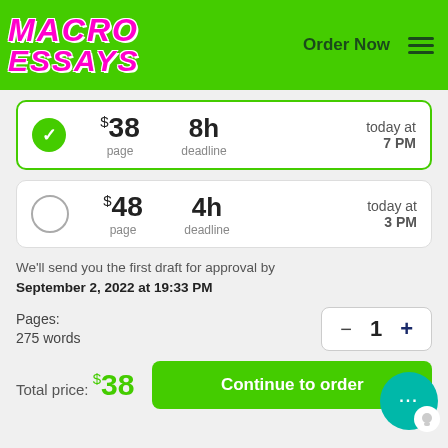[Figure (logo): MacroEssays logo in pink/magenta italic bold text on green background]
Order Now
$38 page | 8h deadline | today at 7 PM (selected option)
$48 page | 4h deadline | today at 3 PM
We'll send you the first draft for approval by September 2, 2022 at 19:33 PM
Pages:
275 words
1
Total price: $38
Continue to order